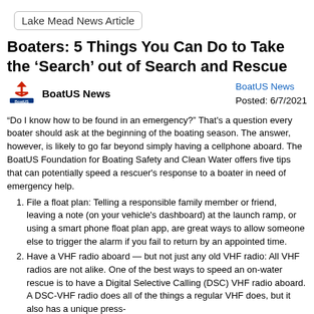Lake Mead News Article
Boaters: 5 Things You Can Do to Take the ‘Search’ out of Search and Rescue
BoatUS News
Posted: 6/7/2021
“Do I know how to be found in an emergency?” That’s a question every boater should ask at the beginning of the boating season. The answer, however, is likely to go far beyond simply having a cellphone aboard. The BoatUS Foundation for Boating Safety and Clean Water offers five tips that can potentially speed a rescuer’s response to a boater in need of emergency help.
File a float plan: Telling a responsible family member or friend, leaving a note (on your vehicle’s dashboard) at the launch ramp, or using a smart phone float plan app, are great ways to allow someone else to trigger the alarm if you fail to return by an appointed time.
Have a VHF radio aboard — but not just any old VHF radio: All VHF radios are not alike. One of the best ways to speed an on-water rescue is to have a Digital Selective Calling (DSC) VHF radio aboard. A DSC-VHF radio does all of the things a regular VHF does, but it also has a unique press-